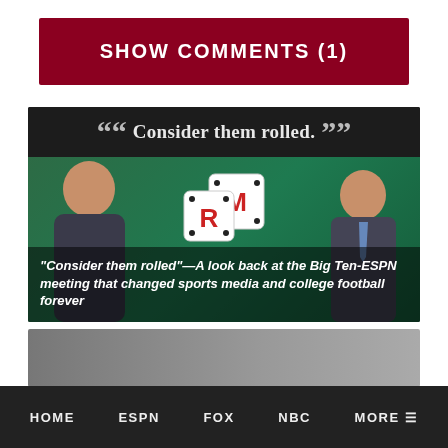SHOW COMMENTS (1)
[Figure (photo): Photo of two men in suits with dice overlay showing letters R and M, on a dark green background, with quote marks and text 'Consider them rolled.' at the top. White italic overlay text reads: "Consider them rolled"—A look back at the Big Ten-ESPN meeting that changed sports media and college football forever]
[Figure (photo): Partially visible second article image showing people]
HOME   ESPN   FOX   NBC   MORE